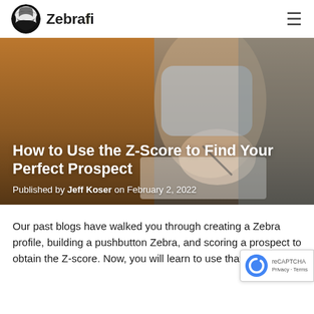Zebrafi
[Figure (photo): Background photo of a person in a light blue shirt writing in a notebook, overlaid with orange/amber color tint on the left side. Contains article title and byline overlay.]
How to Use the Z-Score to Find Your Perfect Prospect
Published by Jeff Koser on February 2, 2022
Our past blogs have walked you through creating a Zebra profile, building a pushbutton Zebra, and scoring a prospect to obtain the Z-score. Now, you will learn to use that score.